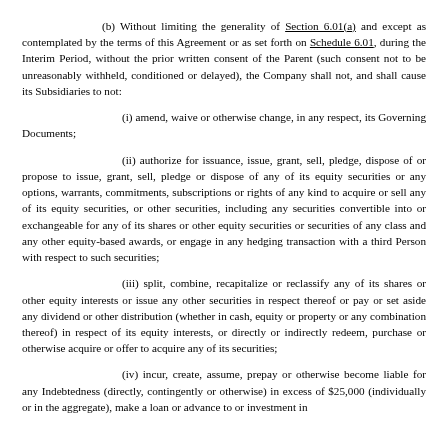(b) Without limiting the generality of Section 6.01(a) and except as contemplated by the terms of this Agreement or as set forth on Schedule 6.01, during the Interim Period, without the prior written consent of the Parent (such consent not to be unreasonably withheld, conditioned or delayed), the Company shall not, and shall cause its Subsidiaries to not:
(i) amend, waive or otherwise change, in any respect, its Governing Documents;
(ii) authorize for issuance, issue, grant, sell, pledge, dispose of or propose to issue, grant, sell, pledge or dispose of any of its equity securities or any options, warrants, commitments, subscriptions or rights of any kind to acquire or sell any of its equity securities, or other securities, including any securities convertible into or exchangeable for any of its shares or other equity securities or securities of any class and any other equity-based awards, or engage in any hedging transaction with a third Person with respect to such securities;
(iii) split, combine, recapitalize or reclassify any of its shares or other equity interests or issue any other securities in respect thereof or pay or set aside any dividend or other distribution (whether in cash, equity or property or any combination thereof) in respect of its equity interests, or directly or indirectly redeem, purchase or otherwise acquire or offer to acquire any of its securities;
(iv) incur, create, assume, prepay or otherwise become liable for any Indebtedness (directly, contingently or otherwise) in excess of $25,000 (individually or in the aggregate), make a loan or advance to or investment in